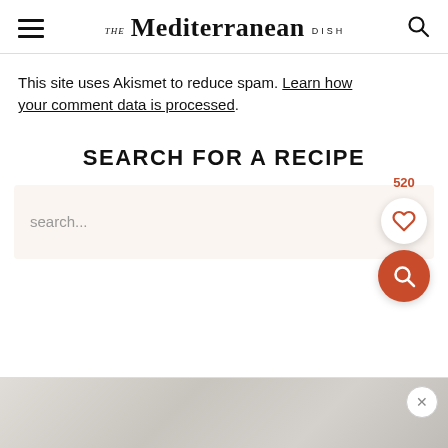THE Mediterranean DISH
This site uses Akismet to reduce spam. Learn how your comment data is processed.
SEARCH FOR A RECIPE
search...